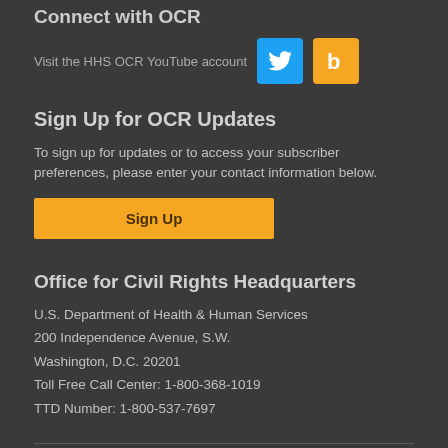Connect with OCR
[Figure (screenshot): Social media icons row: YouTube text link, Twitter bird icon (blue), and Blog icon (orange)]
Sign Up for OCR Updates
To sign up for updates or to access your subscriber preferences, please enter your contact information below.
Sign Up
Office for Civil Rights Headquarters
U.S. Department of Health & Human Services
200 Independence Avenue, S.W.
Washington, D.C. 20201
Toll Free Call Center: 1-800-368-1019
TTD Number: 1-800-537-7697
Contact HHS | HHS Archive | Careers | Accessibility | HHS FAQs | Privacy Policy